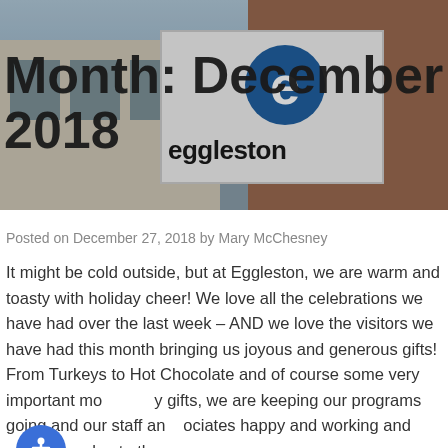[Figure (photo): Photo of Eggleston building exterior with a sign displaying the Eggleston logo (blue 'e' and 'eggleston' text). Overlaid with large bold text reading 'Month: December 2018'.]
Month: December 2018
Posted on December 27, 2018 by Mary McChesney
It might be cold outside, but at Eggleston, we are warm and toasty with holiday cheer! We love all the celebrations we have had over the last week – AND we love the visitors we have had this month bringing us joyous and generous gifts! From Turkeys to Hot Chocolate and of course some very important monetary gifts, we are keeping our programs going and our staff and associates happy and working and productive due to the